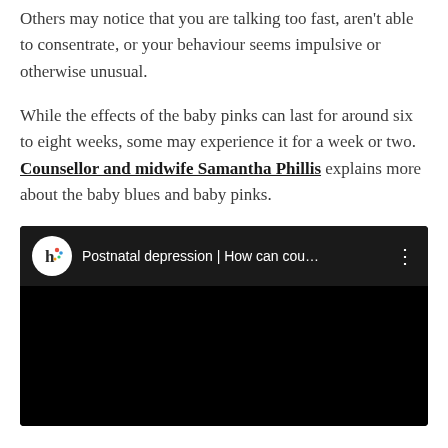Others may notice that you are talking too fast, aren't able to consentrate, or your behaviour seems impulsive or otherwise unusual.
While the effects of the baby pinks can last for around six to eight weeks, some may experience it for a week or two. Counsellor and midwife Samantha Phillis explains more about the baby blues and baby pinks.
[Figure (screenshot): Embedded YouTube video thumbnail with black background showing channel icon with letter 'h' and colorful dots, video title 'Postnatal depression | How can cou...' and three-dot menu icon.]